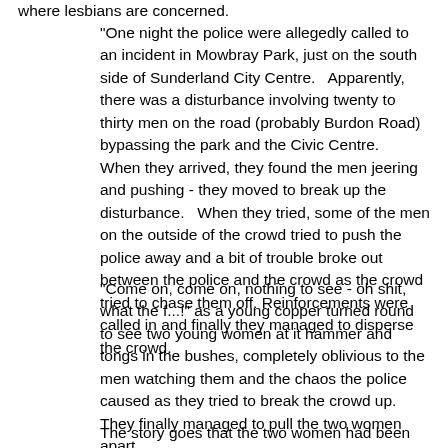where lesbians are concerned.
"One night the police were allegedly called to an incident in Mowbray Park, just on the south side of Sunderland City Centre.   Apparently, there was a disturbance involving twenty to thirty men on the road (probably Burdon Road) bypassing the park and the Civic Centre.   When they arrived, they found the men jeering and pushing - they moved to break up the disturbance.   When they tried, some of the men on the outside of the crowd tried to push the police away and a bit of trouble broke out between the police and the crowd as the crowd tried to chase them off.   Reinforcements were called in and finally they managed to disperse the crowd.
"Come on, come on, nothing to see - oh shit, what the f...!" as a young copper turned round to see two young women at it hammer and tongs in the bushes, completely oblivious to the men watching them and the chaos the police caused as they tried to break the crowd up.   They finally managed to pull the two women apart.
The story goes that the two women had been out